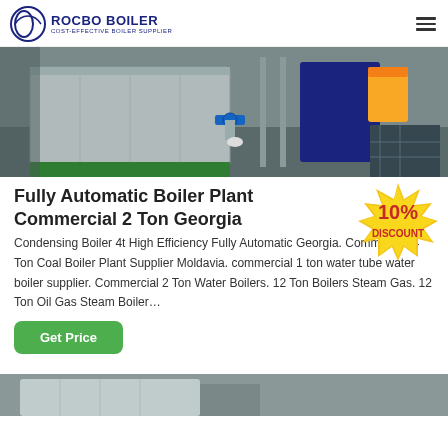ROCBO BOILER — COST-EFFECTIVE BOILER SUPPLIER
[Figure (photo): Industrial boiler plant equipment with metallic tanks, blue valve, piping, and yellow container in a facility.]
Fully Automatic Boiler Plant Commercial 2 Ton Georgia
[Figure (illustration): 10% DISCOUNT badge in red and yellow star-burst shape.]
Condensing Boiler 4t High Efficiency Fully Automatic Georgia. Commercial 4 Ton Coal Boiler Plant Supplier Moldavia. commercial 1 ton water tube water boiler supplier. Commercial 2 Ton Water Boilers. 12 Ton Boilers Steam Gas. 12 Ton Oil Gas Steam Boiler…
Get Price
[Figure (photo): Partial view of boiler equipment at the bottom of the page.]